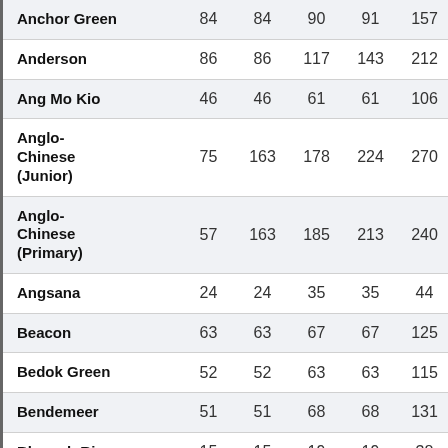| School | Col1 | Col2 | Col3 | Col4 | Col5 |
| --- | --- | --- | --- | --- | --- |
| Anchor Green | 84 | 84 | 90 | 91 | 157 |
| Anderson | 86 | 86 | 117 | 143 | 212 |
| Ang Mo Kio | 46 | 46 | 61 | 61 | 106 |
| Anglo-Chinese (Junior) | 75 | 163 | 178 | 224 | 270 |
| Anglo-Chinese (Primary) | 57 | 163 | 185 | 213 | 240 |
| Angsana | 24 | 24 | 35 | 35 | 44 |
| Beacon | 63 | 63 | 67 | 67 | 125 |
| Bedok Green | 52 | 52 | 63 | 63 | 115 |
| Bendemeer | 51 | 51 | 68 | 68 | 131 |
| Blangah Rise | 15 | 15 | 19 | 19 | 38 |
| Boon Lay | 51 | 51 | 61 | 61 | 94 |